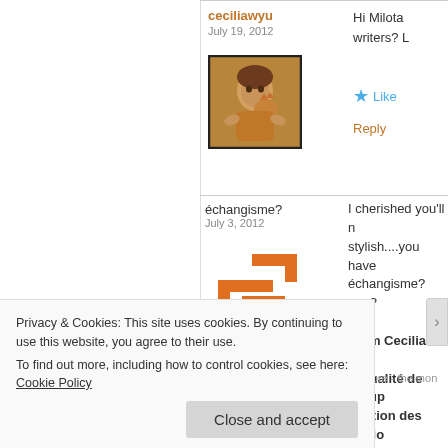ceciliawyu
July 19, 2012
[Figure (photo): Avatar photo of ceciliawyu showing a person with a cat, with a black border]
Hi Milota writers? L
Like
Reply
échangisme?
July 3, 2012
[Figure (logo): Orange geometric logo resembling interconnected angular brackets or maze-like shapes]
I cherished you'll n stylish....you have échangisme? non?
From Cecilia: hah sexualité de group fraction des pratio
Privacy & Cookies: This site uses cookies. By continuing to use this website, you agree to their use.
To find out more, including how to control cookies, see here: Cookie Policy
Close and accept